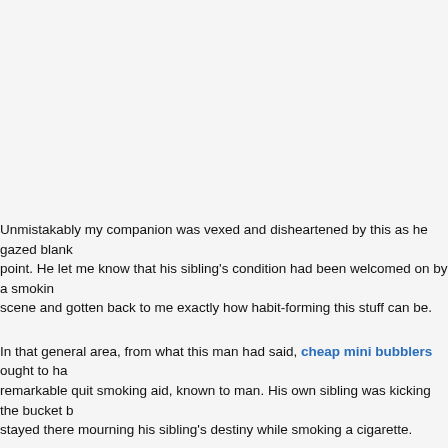Unmistakably my companion was vexed and disheartened by this as he gazed blankly at that point. He let me know that his sibling’s condition had been welcomed on by a smoking scene and gotten back to me exactly how habit-forming this stuff can be.
In that general area, from what this man had said, cheap mini bubblers ought to have remarkable quit smoking aid, known to man. His own sibling was kicking the bucket but stayed there mourning his sibling’s destiny while smoking a cigarette.
The tobacco business overall, on a National or International premise is tremendous concern and a lot is on the line to go after a market that is in sure areas giving indications truly turning out to be more questionable as we, the buyer, become more mindful.
The issue however, as a shopper society we simply need to ‘wish’ the issue away as without a doubt claim all authority to ‘talk intense’ on the grounds that I quit following being a captive to the fixation. I have been there and like the challenges in question.
As I have referenced incidentally, there is the standard stopped smoking guides available inhalers, tablets, needle therapy, laser, containers, shots (infusions), hypnotherapy, e-mixtures.